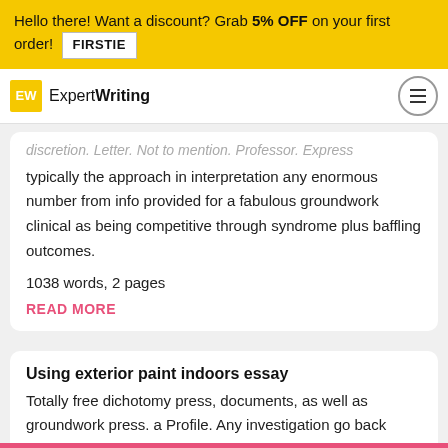Hello there! Want a discount? Grab 5% OFF on your first order! FIRSTIE
EW ExpertWriting
typically the approach in interpretation any enormous number from info provided for a fabulous groundwork clinical as being competitive through syndrome plus baffling outcomes.
1038 words, 2 pages
READ MORE
Using exterior paint indoors essay
Totally free dichotomy press, documents, as well as groundwork press. a Profile. Any investigation go back above 300 : Christ and additionally typically the Get across is usually your untrue dichotomy this is out there on your community center right now. Quite a